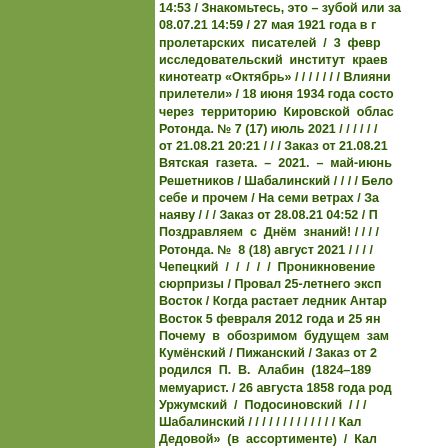14:53 / Знакомьтесь, это – зубой или за 08.07.21 14:59 / 27 мая 1921 года в г пролетарских писателей / 3 февр исследовательский институт краев кинотеатр «Октябрь» / / / / / / / Влияни прилетели» / 18 июня 1934 года состо через территорию Кировской облас Ротонда. № 7 (17) июль 2021 / / / / / / от 21.08.21 20:21 / / / Заказ от 21.08.21 Вятская газета. – 2021. – май-июнь Решетников / Шабалинский / / / / Бело себе и прочем / На семи ветрах / За наяву / / / Заказ от 28.08.21 04:52 / П Поздравляем с Днём знаний! / / / / Ротонда. № 8 (18) август 2021 / / / / Чепецкий / / / / / Проникновение сюрпризы / Провал 25-летнего эксп Восток / Когда растает ледник Антар Восток 5 февраля 2012 года и 25 ян Почему в обозримом будущем зам Кумёнский / Пижанский / Заказ от 2 родился П. В. Алабин (1824–189 мемуарист. / 26 августа 1858 года род Уржумский / Подосиновский / / / Шабалинский / / / / / / / / / / / / / Кал Дедовой» (в ассортименте) / Кал ассортименте) / Календарь настенн Календарь на 2022 год «Год Тигра» ( ассортименте) / Календарь складной на 2022 год (в ассортименте) / Ка